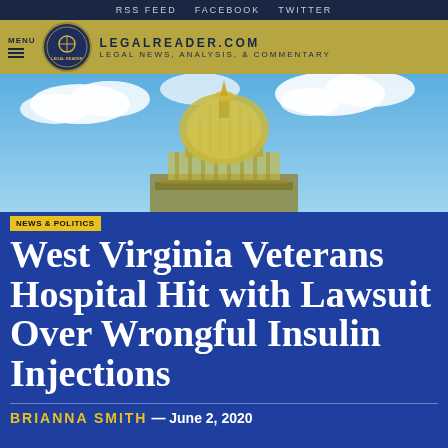RSS FEED  FACEBOOK  TWITTER
LEGALREADER.COM LEGAL NEWS, ANALYSIS, & COMMENTARY
[Figure (photo): Capitol building dome with gold top against a blue sky with white clouds]
NEWS & POLITICS
West Virginia Veterans Hospital Hit with Lawsuit Over Wrongful Insulin Injections
BRIANNA SMITH — June 2, 2020